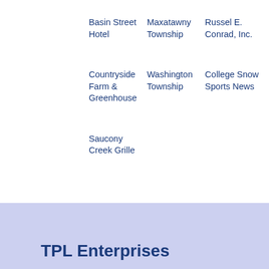Basin Street Hotel
Maxatawny Township
Russel E. Conrad, Inc.
Countryside Farm & Greenhouse
Washington Township
College Snow Sports News
Saucony Creek Grille
TPL Enterprises